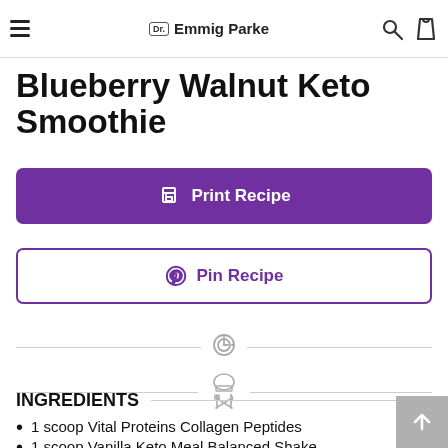Dr. Emmig Parke
Blueberry Walnut Keto Smoothie
Print Recipe
Pin Recipe
[Figure (illustration): Timer/clock icon and chef hat with crossed utensils icon, each centered between horizontal divider lines]
INGREDIENTS
1 scoop Vital Proteins Collagen Peptides
1 scoop Vanilla Keto Meal Balanced Shake